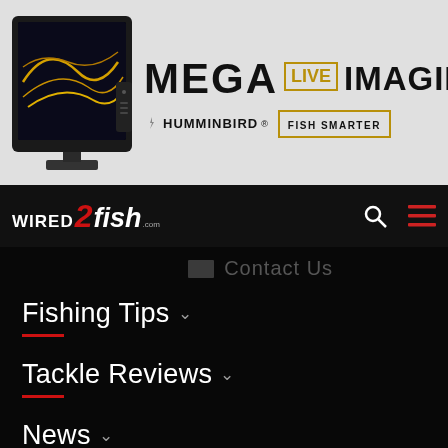[Figure (screenshot): Humminbird MEGA Live Imaging advertisement banner with sonar screen image on left and text MEGA LIVE IMAGING with Humminbird logo and FISH SMARTER button on right]
[Figure (logo): Wired2Fish.com logo in white and red on black navigation bar with search and hamburger menu icons]
Contact Us
Fishing Tips
Tackle Reviews
News
Fishing Videos